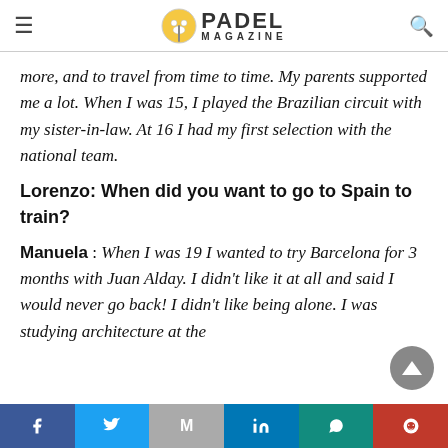PADEL MAGAZINE
more, and to travel from time to time. My parents supported me a lot. When I was 15, I played the Brazilian circuit with my sister-in-law. At 16 I had my first selection with the national team.
Lorenzo: When did you want to go to Spain to train?
Manuela : When I was 19 I wanted to try Barcelona for 3 months with Juan Alday. I didn't like it at all and said I would never go back! I didn't like being alone. I was studying architecture at the
Facebook Twitter Gmail LinkedIn WhatsApp Reddit